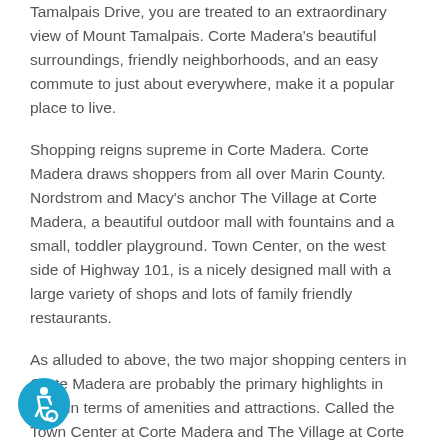Tamalpais Drive, you are treated to an extraordinary view of Mount Tamalpais. Corte Madera's beautiful surroundings, friendly neighborhoods, and an easy commute to just about everywhere, make it a popular place to live.
Shopping reigns supreme in Corte Madera. Corte Madera draws shoppers from all over Marin County. Nordstrom and Macy's anchor The Village at Corte Madera, a beautiful outdoor mall with fountains and a small, toddler playground. Town Center, on the west side of Highway 101, is a nicely designed mall with a large variety of shops and lots of family friendly restaurants.
As alluded to above, the two major shopping centers in Corte Madera are probably the primary highlights in town in terms of amenities and attractions. Called the Town Center at Corte Madera and The Village at Corte Madera, there's certainly no shortage of major retail brands, restaurants, and luxury shopping options at either complex, and their location right next door to each other also makes getting to and from either spot pretty quick and easy, especially given their location off Highway 101. The Corte Madera Marsh State Marine Park also occupies much of the city's
[Figure (illustration): Accessibility icon — blue circle with white wheelchair user symbol]